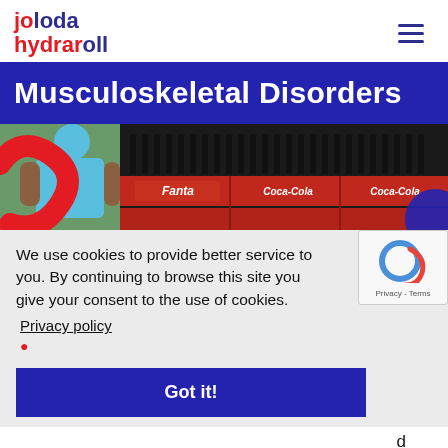joloda hydraroll
Musculoskeletal Disorders
[Figure (photo): Worker in blue shirt handling Coca-Cola bottle crates; red branded packaging visible in background]
We use cookies to provide better service to you. By continuing to browse this site you give your consent to the use of cookies.
Privacy policy
Got it!
d
unloading take a toll on your productivity. Even your most